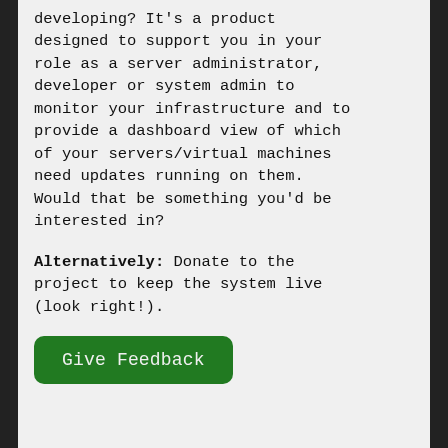developing? It's a product designed to support you in your role as a server administrator, developer or system admin to monitor your infrastructure and to provide a dashboard view of which of your servers/virtual machines need updates running on them. Would that be something you'd be interested in?
Alternatively: Donate to the project to keep the system live (look right!).
[Figure (other): Green button labeled 'Give Feedback']